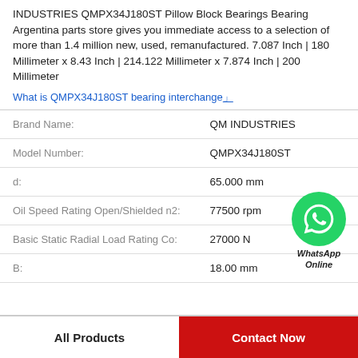INDUSTRIES QMPX34J180ST Pillow Block Bearings Bearing Argentina parts store gives you immediate access to a selection of more than 1.4 million new, used, remanufactured. 7.087 Inch | 180 Millimeter x 8.43 Inch | 214.122 Millimeter x 7.874 Inch | 200 Millimeter
What is QMPX34J180ST bearing interchange
| Label | Value |
| --- | --- |
| Brand Name: | QM INDUSTRIES |
| Model Number: | QMPX34J180ST |
| d: | 65.000 mm |
| Oil Speed Rating Open/Shielded n2: | 77500 rpm |
| Basic Static Radial Load Rating Co: | 27000 N |
| B: | 18.00 mm |
[Figure (illustration): WhatsApp Online contact bubble with green circle phone icon and italic bold text 'WhatsApp Online']
All Products | Contact Now